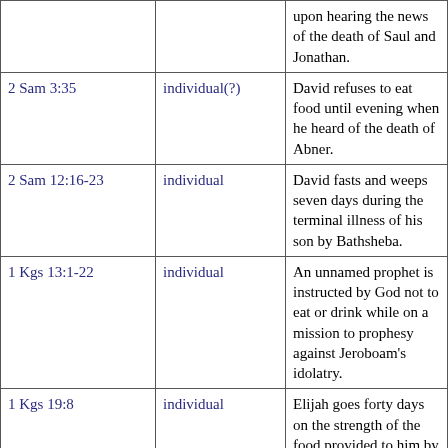| Reference | Type | Description |
| --- | --- | --- |
|  |  | upon hearing the news of the death of Saul and Jonathan. |
| 2 Sam 3:35 | individual(?) | David refuses to eat food until evening when he heard of the death of Abner. |
| 2 Sam 12:16-23 | individual | David fasts and weeps seven days during the terminal illness of his son by Bathsheba. |
| 1 Kgs 13:1-22 | individual | An unnamed prophet is instructed by God not to eat or drink while on a mission to prophesy against Jeroboam's idolatry. |
| 1 Kgs 19:8 | individual | Elijah goes forty days on the strength of the food provided to him by an angel. |
| 1 Kgs 21:4 | individual | Ahab eats no food because he is sullen after Naboth refused to sell his vineyard. |
| 1 Kgs 21:9-12 | corporate | Jezebel calls a false day of |